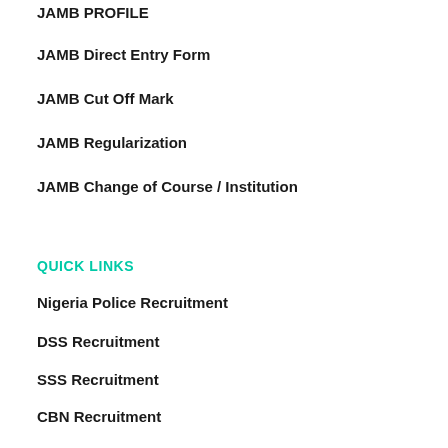JAMB PROFILE
JAMB Direct Entry Form
JAMB Cut Off Mark
JAMB Regularization
JAMB Change of Course / Institution
QUICK LINKS
Nigeria Police Recruitment
DSS Recruitment
SSS Recruitment
CBN Recruitment
NNPC Recruitment